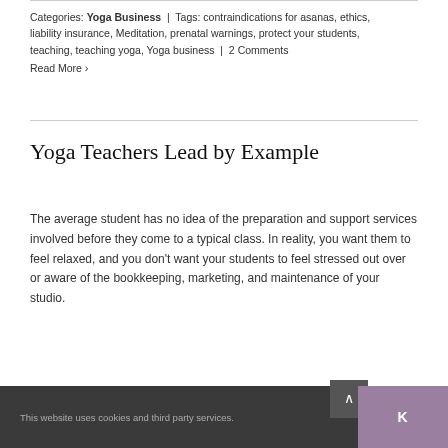Categories: Yoga Business | Tags: contraindications for asanas, ethics, liability insurance, Meditation, prenatal warnings, protect your students, teaching, teaching yoga, Yoga business | 2 Comments
Read More ›
Yoga Teachers Lead by Example
The average student has no idea of the preparation and support services involved before they come to a typical class. In reality, you want them to feel relaxed, and you don't want your students to feel stressed out over or aware of the bookkeeping, marketing, and maintenance of your studio.
This website uses cookies and third party services. OK